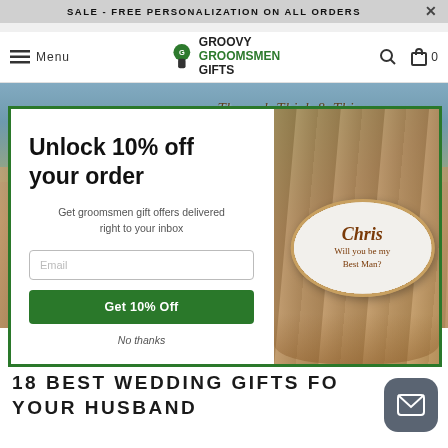SALE - FREE PERSONALIZATION ON ALL ORDERS
[Figure (screenshot): Groovy Groomsmen Gifts navigation bar with hamburger menu, logo, search and cart icons]
[Figure (photo): Hero image showing personalized groomsmen gifts on wooden background with text 'Through Thick & Thin']
[Figure (screenshot): Email signup popup modal with 10% off offer, email input field, Get 10% Off button, and No thanks link. Right side shows photo of personalized football reading 'Chris Will you be my Best Man?']
18 BEST WEDDING GIFTS FOR YOUR HUSBAND